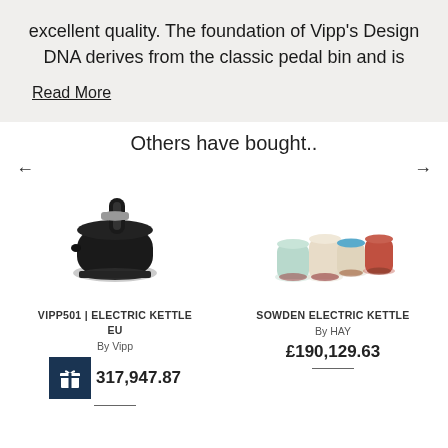excellent quality. The foundation of Vipp's Design DNA derives from the classic pedal bin and is
Read More
Others have bought..
[Figure (photo): Black electric kettle (VIPP501)]
VIPP501 | ELECTRIC KETTLE EU
By Vipp
£317,947.87
[Figure (photo): Colorful ceramic mugs/kettles set (Sowden Electric Kettle by HAY)]
SOWDEN ELECTRIC KETTLE
By HAY
£190,129.63